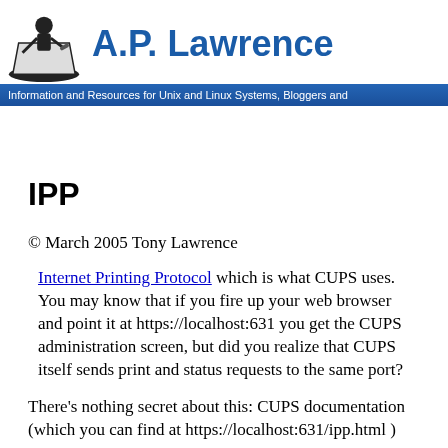A.P. Lawrence — Information and Resources for Unix and Linux Systems, Bloggers and
IPP
© March 2005 Tony Lawrence
Internet Printing Protocol which is what CUPS uses. You may know that if you fire up your web browser and point it at https://localhost:631 you get the CUPS administration screen, but did you realize that CUPS itself sends print and status requests to the same port?
There's nothing secret about this: CUPS documentation (which you can find at https://localhost:631/ipp.html )